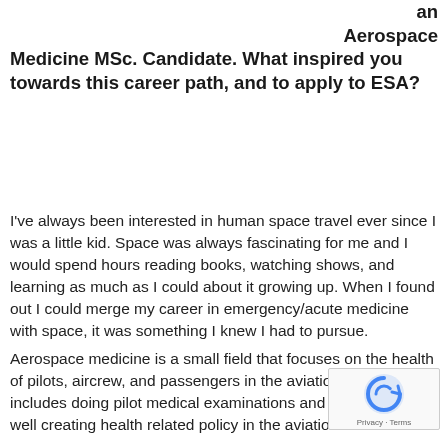an Aerospace Medicine MSc. Candidate. What inspired you towards this career path, and to apply to ESA?
I've always been interested in human space travel ever since I was a little kid. Space was always fascinating for me and I would spend hours reading books, watching shows, and learning as much as I could about it growing up. When I found out I could merge my career in emergency/acute medicine with space, it was something I knew I had to pursue.
Aerospace medicine is a small field that focuses on the health of pilots, aircrew, and passengers in the aviation industry. This includes doing pilot medical examinations and certifications as well creating health related policy in the aviation